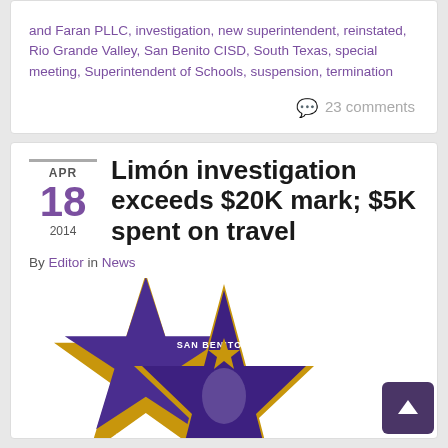and Faran PLLC, investigation, new superintendent, reinstated, Rio Grande Valley, San Benito CISD, South Texas, special meeting, Superintendent of Schools, suspension, termination
23 comments
Limón investigation exceeds $20K mark; $5K spent on travel
By Editor in News
[Figure (logo): San Benito CISD star logo with text 'WHERE A LIFETIME OF LEARNING BEGINS']